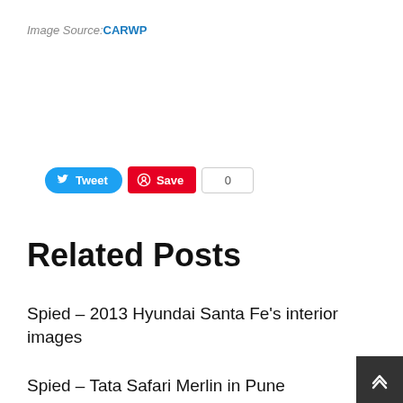Image Source: CARWP
[Figure (other): Social sharing buttons: Tweet (Twitter/blue) and Save (Pinterest/red) with count badge showing 0]
Related Posts
Spied – 2013 Hyundai Santa Fe's interior images
Spied – Tata Safari Merlin in Pune